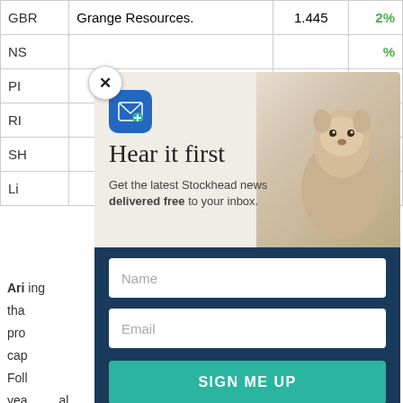|  |  |  |  |
| --- | --- | --- | --- |
| GBR | Grange Resources. | 1.445 | 2% |
| NS |  |  | % |
| PI |  |  | % |
| RI |  |  | % |
| SH |  |  | % |
| Li |  |  | % |
Ari... ing tha... pro... cap... Foll... : yea... al allo... M&...
[Figure (screenshot): Email newsletter signup modal overlay with 'Hear it first' heading, subtitle 'Get the latest Stockhead news delivered free to your inbox.', marmot/groundhog image background, Name and Email input fields, and a teal SIGN ME UP button on a dark navy background. A close (X) button appears top-left of modal.]